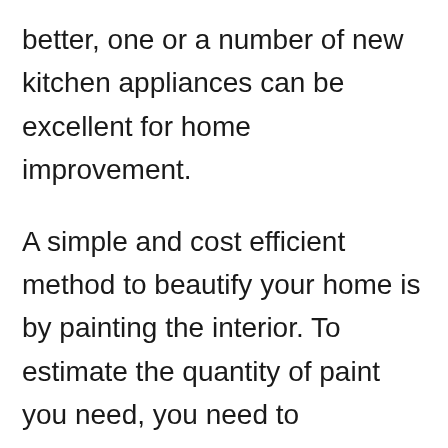better, one or a number of new kitchen appliances can be excellent for home improvement.
A simple and cost efficient method to beautify your home is by painting the interior. To estimate the quantity of paint you need, you need to determine the square video of the walls. Simply multiply the length of the wall by its height. One gallon of paint will cover roughly 350 square feet. Keep in mind that you may need two coats of paint,